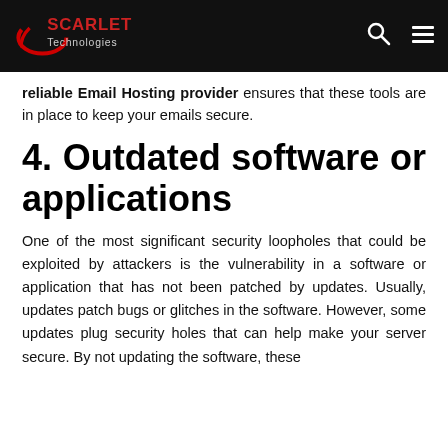Scarlet Technologies
reliable Email Hosting provider ensures that these tools are in place to keep your emails secure.
4. Outdated software or applications
One of the most significant security loopholes that could be exploited by attackers is the vulnerability in a software or application that has not been patched by updates. Usually, updates patch bugs or glitches in the software. However, some updates plug security holes that can help make your server secure. By not updating the software, these